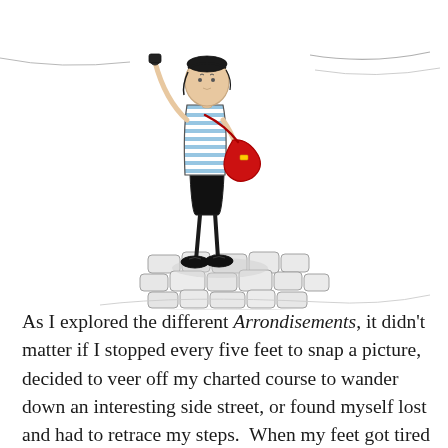[Figure (illustration): A pen-and-ink style illustration of a woman standing on cobblestones. She wears a blue-and-white striped top, black shorts, and dark shoes. She carries a large red handbag over her shoulder and appears to be looking up or taking a photo. The cobblestone street is sketched loosely around her feet. Background suggests an outdoor setting with light pencil strokes.]
As I explored the different Arrondisements, it didn't matter if I stopped every five feet to snap a picture, decided to veer off my charted course to wander down an interesting side street, or found myself lost and had to retrace my steps.  When my feet got tired or I got hungry, I stopped to rest or to eat; and at the end of the day I always had